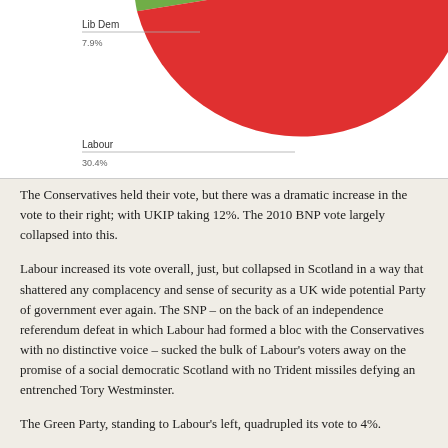[Figure (pie-chart): UK Election Vote Share]
The Conservatives held their vote, but there was a dramatic increase in the vote to their right; with UKIP taking 12%. The 2010 BNP vote largely collapsed into this.
Labour increased its vote overall, just, but collapsed in Scotland in a way that shattered any complacency and sense of security as a UK wide potential Party of government ever again. The SNP – on the back of an independence referendum defeat in which Labour had formed a bloc with the Conservatives with no distinctive voice – sucked the bulk of Labour's voters away on the promise of a social democratic Scotland with no Trident missiles defying an entrenched Tory Westminster.
The Green Party, standing to Labour's left, quadrupled its vote to 4%.